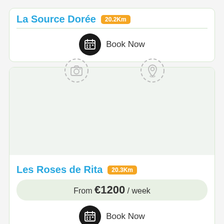La Source Dorée 20.2Km
[Figure (illustration): Book Now button with calendar icon]
[Figure (illustration): Property listing card with camera and map pin icons, empty image placeholder]
Les Roses de Rita 20.3Km
From €1200 / week
[Figure (illustration): Book Now button with calendar icon]